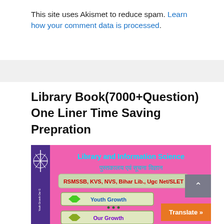This site uses Akismet to reduce spam. Learn how your comment data is processed.
Library Book(7000+Question) One Liner Time Saving Prepration
[Figure (photo): Book cover image for Library and Information Science book by Youth Growth, showing text in Hindi and English, with exam names RSMSSB, KVS, NVS, Bihar Lib., Ugc Net/SLET, and two button-style labels: Youth Growth and Our Growth. Pink background with purple spine.]